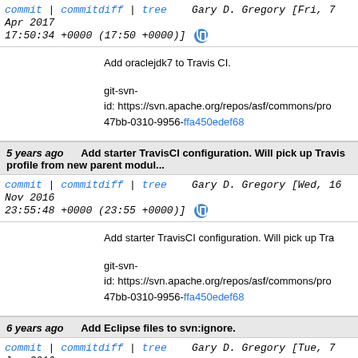commit | commitdiff | tree   Gary D. Gregory [Fri, 7 Apr 2017 17:50:34 +0000 (17:50 +0000)]
Add oraclejdk7 to Travis CI.

git-svn-id: https://svn.apache.org/repos/asf/commons/pro 47bb-0310-9956-ffa450edef68
5 years ago   Add starter TravisCI configuration. Will pick up Travis profile from new parent modul...
commit | commitdiff | tree   Gary D. Gregory [Wed, 16 Nov 2016 23:55:48 +0000 (23:55 +0000)]
Add starter TravisCI configuration. Will pick up Tra

git-svn-id: https://svn.apache.org/repos/asf/commons/pro 47bb-0310-9956-ffa450edef68
6 years ago   Add Eclipse files to svn:ignore.
commit | commitdiff | tree   Gary D. Gregory [Tue, 7 Jun 2016 01:11:54 +0000 (01:11 +0000)]
Add Eclipse files to svn:ignore.

git-svn-